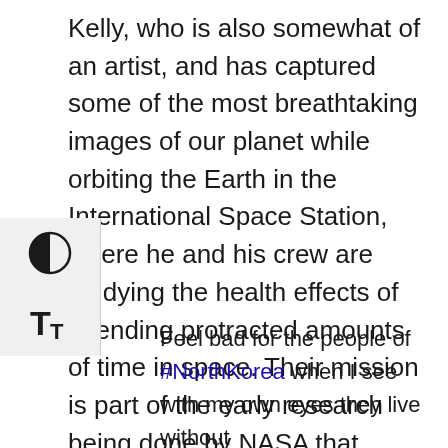Kelly, who is also somewhat of an artist, and has captured some of the most breathtaking images of our planet while orbiting the Earth in the International Space Station, where he and his crew are studying the health effects of spending protracted amounts of time in space. Their mission is part of the early research being done by NASA that seeks to find a way to send astronauts farther into the solar system than ever before.
[Figure (other): UI accessibility panel with contrast toggle icon and text size (TT) icon]
Feel bad for the people of #NorthKorea when I see with my own eyes they live without